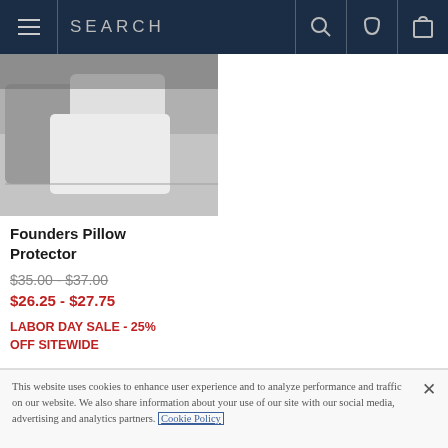SEARCH (navigation bar with hamburger menu, search, phone, and cart icons)
[Figure (photo): Product photo of bed pillows in grey bedding on a bed, showing multiple white and grey pillows stacked]
Founders Pillow Protector
$35.00 - $37.00 (strikethrough original price)
$26.25 - $27.75
LABOR DAY SALE - 25% OFF SITEWIDE
This website uses cookies to enhance user experience and to analyze performance and traffic on our website. We also share information about your use of our site with our social media, advertising and analytics partners. Cookie Policy